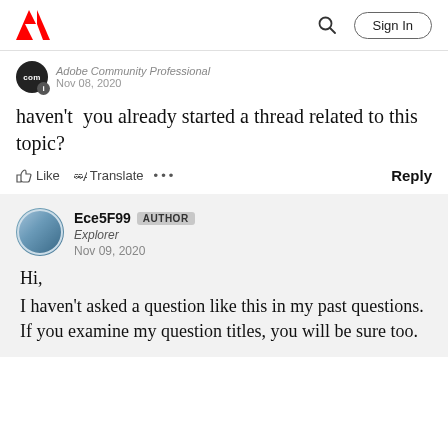Adobe | Sign In
Adobe Community Professional
Nov 08, 2020
haven't  you already started a thread related to this topic?
Like  Translate  ...  Reply
Ece5F99  AUTHOR
Explorer
Nov 09, 2020
Hi,
I haven't asked a question like this in my past questions. If you examine my question titles, you will be sure too.